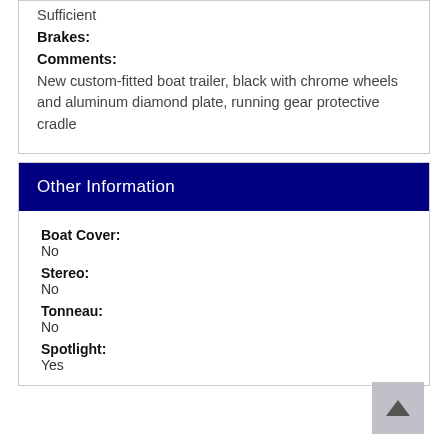Sufficient
Brakes:
Comments:
New custom-fitted boat trailer, black with chrome wheels and aluminum diamond plate, running gear protective cradle
Other Information
Boat Cover:
No
Stereo:
No
Tonneau:
No
Spotlight:
Yes